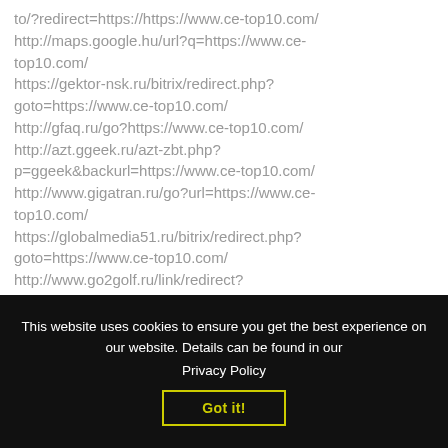to/?redirect=https://https://www.ce-top10.com/
http://maps.google.hu/url?q=https://www.ce-top10.com/
https://gektor-nsk.ru/bitrix/redirect.php?goto=https://www.ce-top10.com/
http://gfaq.ru/go?https://www.ce-top10.com/
http://azt.ggeek.ru/azt-zbt.php?p=ggeek&backurl=https://www.ce-top10.com/
http://www.gigatran.ru/go?url=https://www.ce-top10.com/
https://globalmedia51.ru/bitrix/redirect.php?goto=https://www.ce-top10.com/
http://www.go2golf.ru/link/redirect?link=https://www.ce-top10.com/
This website uses cookies to ensure you get the best experience on our website. Details can be found in our
Privacy Policy
Got it!